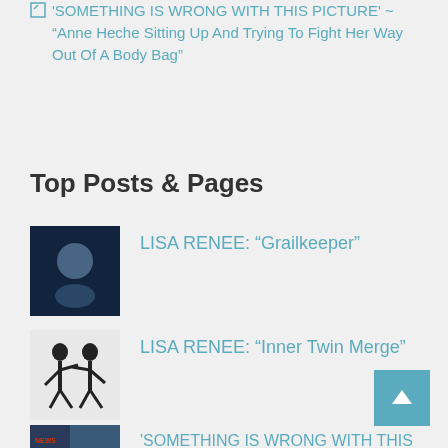'SOMETHING IS WRONG WITH THIS PICTURE' ~ “Anne Heche Sitting Up And Trying To Fight Her Way Out Of A Body Bag”
Top Posts & Pages
LISA RENEE: “Grailkeeper”
LISA RENEE: “Inner Twin Merge”
'SOMETHING IS WRONG WITH THIS PICTURE' ~ “Anne Heche Sitting Up And Trying To Fight Her Way Out Of A Body Bag”
THE DISCLOSURE HUB: “ANNE DIED TO TELL THE WORLD! HER